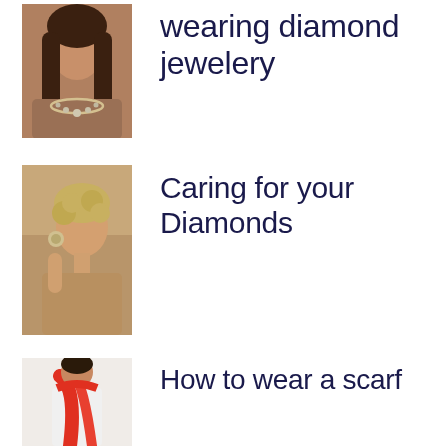[Figure (photo): Woman wearing diamond necklace jewelry]
wearing diamond jewelery
[Figure (photo): Woman posing with diamond earrings]
Caring for your Diamonds
[Figure (photo): Woman wearing a red scarf]
How to wear a scarf